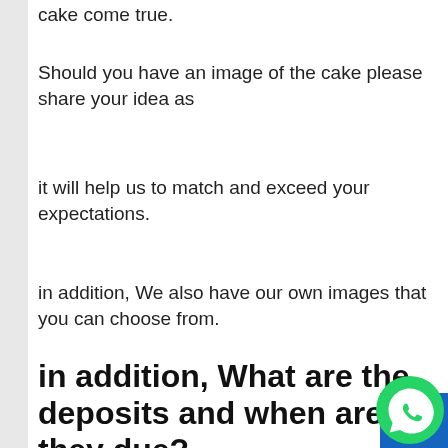cake come true.
Should you have an image of the cake please share your idea as
it will help us to match and exceed your expectations.
in addition, We also have our own images that you can choose from.
in addition, What are the deposits and when are they due?
A 40% deposit is due upon receipt of a signed